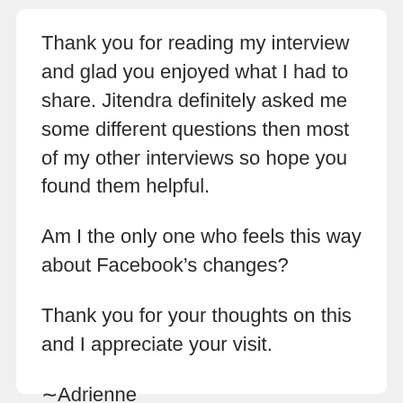Thank you for reading my interview and glad you enjoyed what I had to share. Jitendra definitely asked me some different questions then most of my other interviews so hope you found them helpful.
Am I the only one who feels this way about Facebook’s changes?
Thank you for your thoughts on this and I appreciate your visit.
–Adrienne